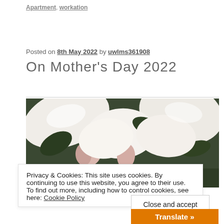Apartment, workation
Posted on 8th May 2022 by uwlms361908
On Mother's Day 2022
[Figure (photo): Close-up photo of white flowers with pink buds and dark green leaves]
Privacy & Cookies: This site uses cookies. By continuing to use this website, you agree to their use. To find out more, including how to control cookies, see here: Cookie Policy
Close and accept
Translate »